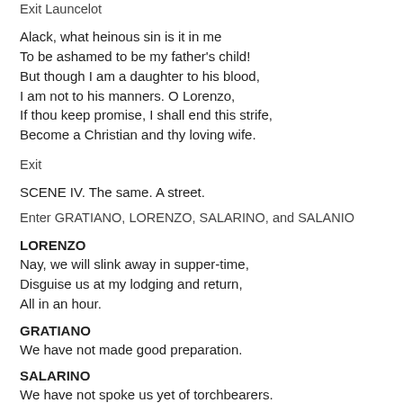Exit Launcelot
Alack, what heinous sin is it in me
To be ashamed to be my father's child!
But though I am a daughter to his blood,
I am not to his manners. O Lorenzo,
If thou keep promise, I shall end this strife,
Become a Christian and thy loving wife.
Exit
SCENE IV. The same. A street.
Enter GRATIANO, LORENZO, SALARINO, and SALANIO
LORENZO
Nay, we will slink away in supper-time,
Disguise us at my lodging and return,
All in an hour.
GRATIANO
We have not made good preparation.
SALARINO
We have not spoke us yet of torchbearers.
SALANIO